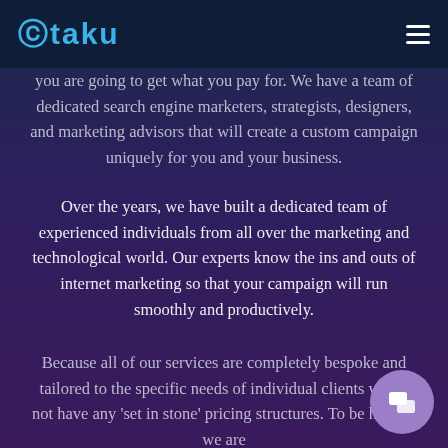OTAKU
you are going to get what you pay for. We have a team of dedicated search engine marketers, strategists, designers, and marketing advisors that will create a custom campaign uniquely for you and your business.
Over the years, we have built a dedicated team of experienced individuals from all over the marketing and technological world. Our experts know the ins and outs of internet marketing so that your campaign will run smoothly and productively.
Because all of our services are completely bespoke and tailored to the specific needs of individual clients we do not have any 'set in stone' pricing structures. To be honest, we are